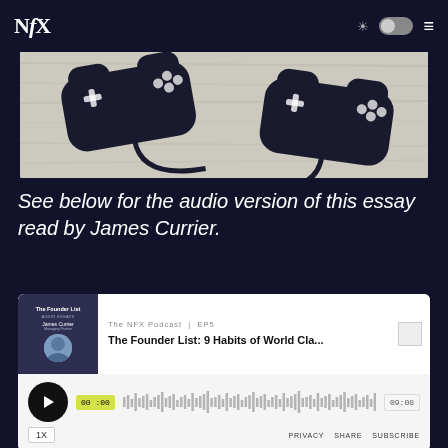NFX
[Figure (photo): Dark game controllers on a gray wood surface background]
See below for the audio version of this essay read by James Currier.
[Figure (screenshot): NFX Podcast audio player embed. The NFX Podcast | EP5 — The Founder List: 9 Habits of World Cla... Playback at 00:00, duration 09:08. Controls: play button, 1X speed, PRIVACY SHARE SUBSCRIBE links.]